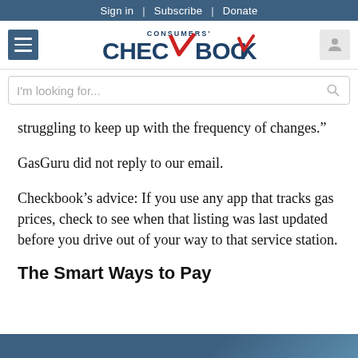Sign in | Subscribe | Donate
[Figure (logo): Consumers' Checkbook logo with hamburger menu and user icon]
struggling to keep up with the frequency of changes.”
GasGuru did not reply to our email.
Checkbook’s advice: If you use any app that tracks gas prices, check to see when that listing was last updated before you drive out of your way to that service station.
The Smart Ways to Pay